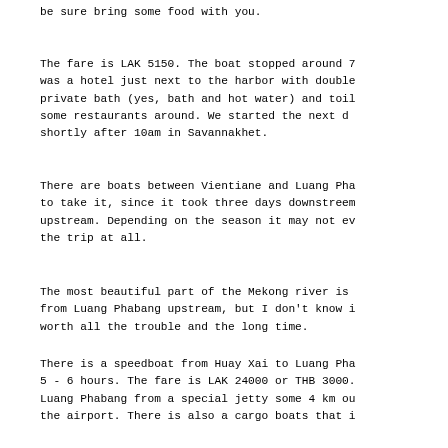be sure bring some food with you.
The fare is LAK 5150. The boat stopped around 7 was a hotel just next to the harbor with double private bath (yes, bath and hot water) and toil some restaurants around. We started the next d shortly after 10am in Savannakhet.
There are boats between Vientiane and Luang Pha to take it, since it took three days downstreem upstream. Depending on the season it may not ev the trip at all.
The most beautiful part of the Mekong river is from Luang Phabang upstream, but I don't know i worth all the trouble and the long time.
There is a speedboat from Huay Xai to Luang Pha 5 - 6 hours. The fare is LAK 24000 or THB 3000. Luang Phabang from a special jetty some 4 km ou the airport. There is also a cargo boats that i